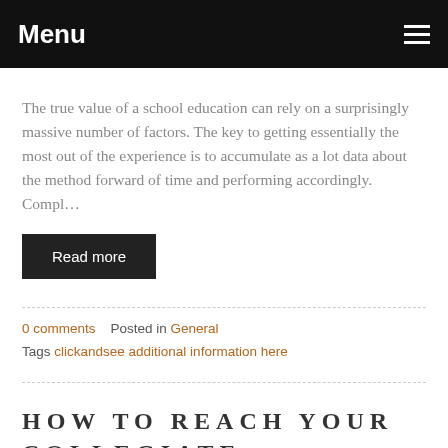Menu
The true value of a school education can rely on a surprisingly massive number of factors. The key to getting essentially the most out of the experience is to accumulate as a lot data about the method forward of time and performing accordingly. Compl…
Read more
0 comments   Posted in General
Tags clickandsee additional information here
HOW TO REACH YOUR COLLEGIATE PROFESSION
June 29, 2019